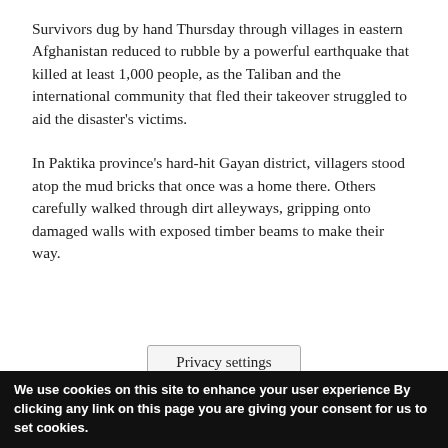Survivors dug by hand Thursday through villages in eastern Afghanistan reduced to rubble by a powerful earthquake that killed at least 1,000 people, as the Taliban and the international community that fled their takeover struggled to aid the disaster's victims.
In Paktika province's hard-hit Gayan district, villagers stood atop the mud bricks that once was a home there. Others carefully walked through dirt alleyways, gripping onto damaged walls with exposed timber beams to make their way.
Privacy settings
We use cookies on this site to enhance your user experience By clicking any link on this page you are giving your consent for us to set cookies.